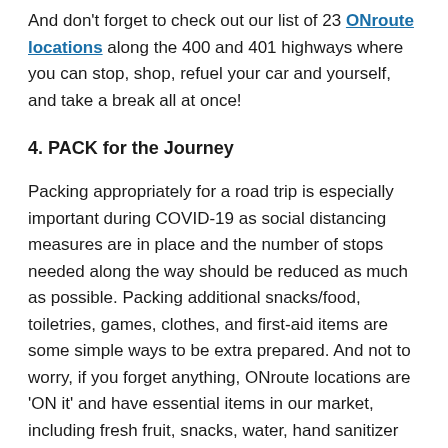And don't forget to check out our list of 23 ONroute locations along the 400 and 401 highways where you can stop, shop, refuel your car and yourself, and take a break all at once!
4. PACK for the Journey
Packing appropriately for a road trip is especially important during COVID-19 as social distancing measures are in place and the number of stops needed along the way should be reduced as much as possible. Packing additional snacks/food, toiletries, games, clothes, and first-aid items are some simple ways to be extra prepared. And not to worry, if you forget anything, ONroute locations are 'ON it' and have essential items in our market, including fresh fruit, snacks, water, hand sanitizer and more.
During this time, it's also important to have items such as hand sanitizer (at least 60% alcohol) and/or disinfecting wipes with you. Both of these are useful if access to sinks/water are limited. Items like gloves and face masks may also be beneficial and in some cases are